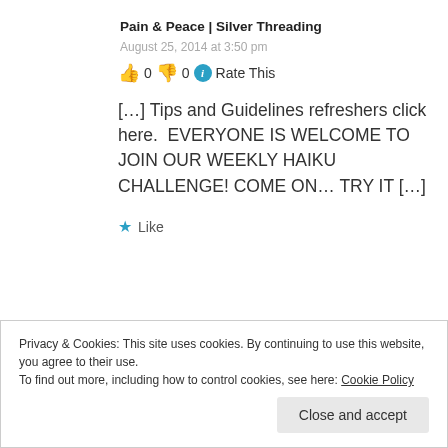Pain & Peace | Silver Threading
August 25, 2014 at 3:50 pm
👍 0 👎 0 ℹ Rate This
[…] Tips and Guidelines refreshers click here.  EVERYONE IS WELCOME TO JOIN OUR WEEKLY HAIKU CHALLENGE! COME ON… TRY IT […]
★ Like
Privacy & Cookies: This site uses cookies. By continuing to use this website, you agree to their use. To find out more, including how to control cookies, see here: Cookie Policy
Close and accept